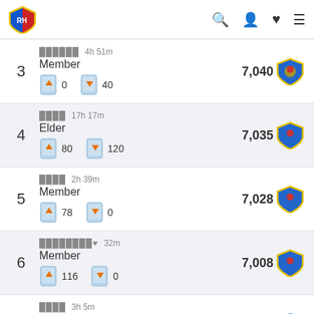Logo and navigation icons
3 | ██████ 4h 51m | Member | ↑0 ↓40 | 7,040
4 | ████ 17h 17m | Elder | ↑80 ↓120 | 7,035
5 | ████ 2h 39m | Member | ↑78 ↓0 | 7,028
6 | ████████♥ 32m | Member | ↑116 ↓0 | 7,008
7 | ████ 3h 5m | Elder | ↑168 ↓240 | 6,941
8 | ███████ 6m | ...